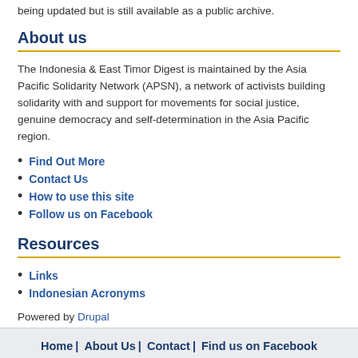being updated but is still available as a public archive.
About us
The Indonesia & East Timor Digest is maintained by the Asia Pacific Solidarity Network (APSN), a network of activists building solidarity with and support for movements for social justice, genuine democracy and self-determination in the Asia Pacific region.
Find Out More
Contact Us
How to use this site
Follow us on Facebook
Resources
Links
Indonesian Acronyms
Powered by Drupal
Home | About Us | Contact | Find us on Facebook | Links | Indonesian Acronyms | Help